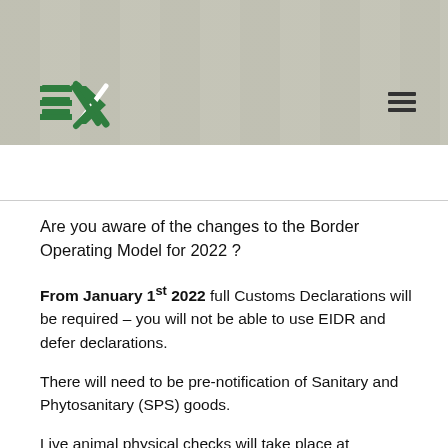[Figure (photo): Background image of stacked shipping containers, muted beige/grey tones. Company logo (green arrow/lines icon) in lower left of header area. Hamburger menu icon in upper right.]
Are you aware of the changes to the Border Operating Model for 2022 ?
From January 1st 2022 full Customs Declarations will be required – you will not be able to use EIDR and defer declarations.
There will need to be pre-notification of Sanitary and Phytosanitary (SPS) goods.
Live animal physical checks will take place at designated border control posts where a facility is operational at the point of entry.